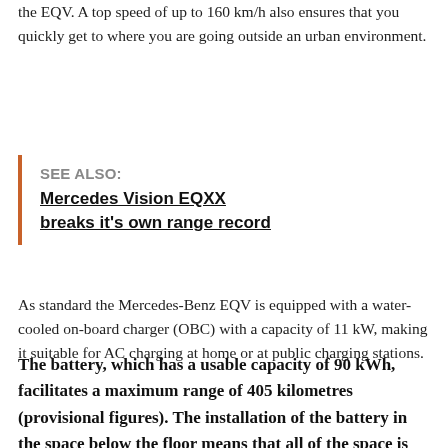the EQV. A top speed of up to 160 km/h also ensures that you quickly get to where you are going outside an urban environment.
SEE ALSO: Mercedes Vision EQXX breaks it's own range record
As standard the Mercedes-Benz EQV is equipped with a water-cooled on-board charger (OBC) with a capacity of 11 kW, making it suitable for AC charging at home or at public charging stations.
The battery, which has a usable capacity of 90 kWh, facilitates a maximum range of 405 kilometres (provisional figures). The installation of the battery in the space below the floor means that all of the space is